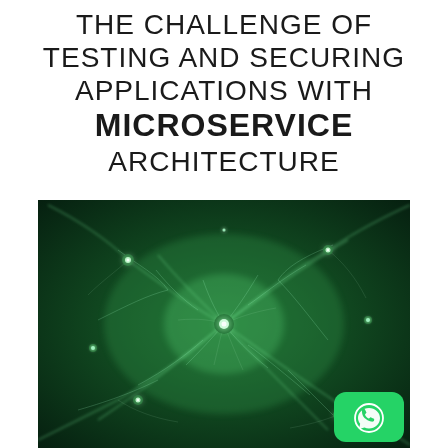THE CHALLENGE OF TESTING AND SECURING APPLICATIONS WITH MICROSERVICE ARCHITECTURE
[Figure (illustration): A green-tinted microscopy image of neuron cells with glowing synaptic connections on a dark green background, overlaid with a WhatsApp icon in the bottom-right corner.]